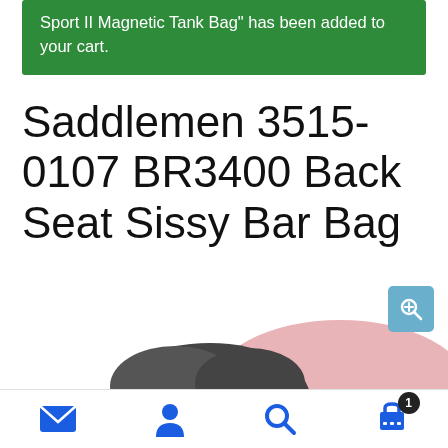Sport II Magnetic Tank Bag" has been added to your cart.
Saddlemen 3515-0107 BR3400 Back Seat Sissy Bar Bag
[Figure (photo): Partial view of a motorcycle bag (sissy bar bag) in dark color with pink background shape, partially visible at bottom of page. Zoom/magnify button icon in blue in top-right of image area.]
[Figure (infographic): Bottom navigation bar with four icons: envelope/mail icon (blue), user/account icon (blue), search/magnifying glass icon (blue), shopping cart icon (blue) with badge showing count 1.]